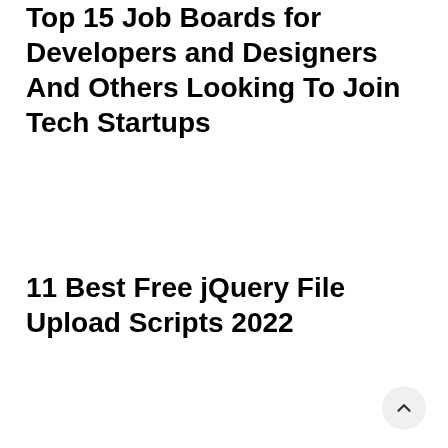Top 15 Job Boards for Developers and Designers And Others Looking To Join Tech Startups
11 Best Free jQuery File Upload Scripts 2022